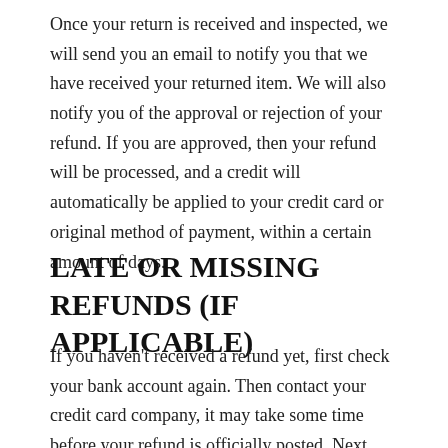Once your return is received and inspected, we will send you an email to notify you that we have received your returned item. We will also notify you of the approval or rejection of your refund. If you are approved, then your refund will be processed, and a credit will automatically be applied to your credit card or original method of payment, within a certain amount of days.
LATE OR MISSING REFUNDS (IF APPLICABLE)
If you haven't received a refund yet, first check your bank account again. Then contact your credit card company, it may take some time before your refund is officially posted. Next contact your bank. There is often some processing time before a refund is